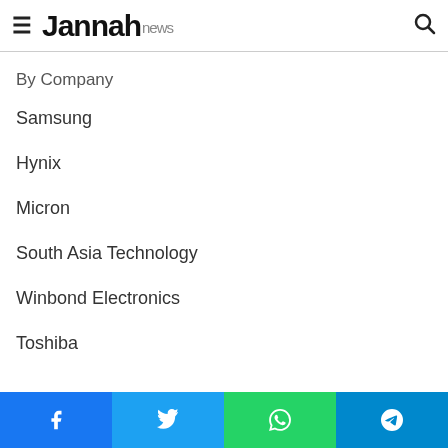Jannah news
By Company
Samsung
Hynix
Micron
South Asia Technology
Winbond Electronics
Toshiba
Facebook | Twitter | WhatsApp | Telegram